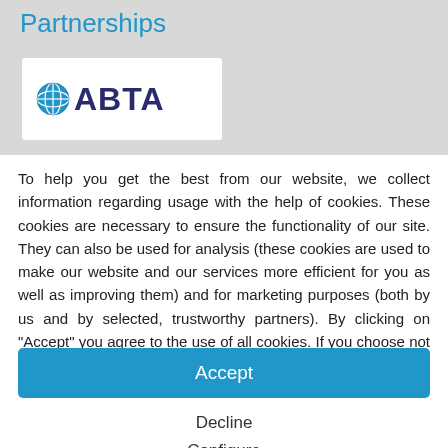Partnerships
[Figure (logo): ABTA logo with globe icon and blue text on white background]
To help you get the best from our website, we collect information regarding usage with the help of cookies. These cookies are necessary to ensure the functionality of our site. They can also be used for analysis (these cookies are used to make our website and our services more efficient for you as well as improving them) and for marketing purposes (both by us and by selected, trustworthy partners). By clicking on "Accept" you agree to the use of all cookies. If you choose not to, you can select the cookies you are happy to use here. Click here for more information about our privacy policy.
Accept
Decline
Configure